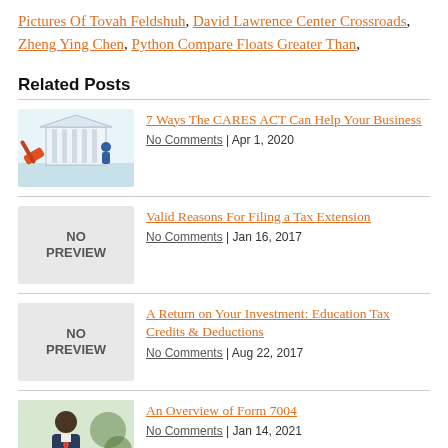Pictures Of Tovah Feldshuh, David Lawrence Center Crossroads, Zheng Ying Chen, Python Compare Floats Greater Than,
Related Posts
7 Ways The CARES ACT Can Help Your Business | No Comments | Apr 1, 2020
Valid Reasons For Filing a Tax Extension | No Comments | Jan 16, 2017
A Return on Your Investment: Education Tax Credits & Deductions | No Comments | Aug 22, 2017
An Overview of Form 7004 | No Comments | Jan 14, 2021